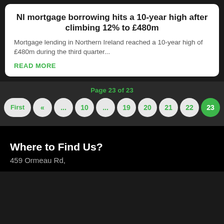NI mortgage borrowing hits a 10-year high after climbing 12% to £480m
Mortgage lending in Northern Ireland reached a 10-year high of £480m during the third quarter...
READ MORE
Page 23 of 23
First « ... 10 ... 19 20 21 22 23
Where to Find Us?
459 Ormeau Rd,